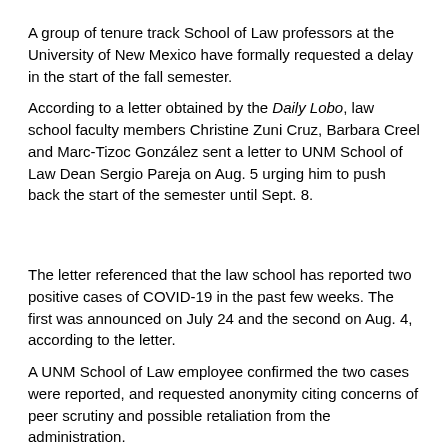A group of tenure track School of Law professors at the University of New Mexico have formally requested a delay in the start of the fall semester.
According to a letter obtained by the Daily Lobo, law school faculty members Christine Zuni Cruz, Barbara Creel and Marc-Tizoc González sent a letter to UNM School of Law Dean Sergio Pareja on Aug. 5 urging him to push back the start of the semester until Sept. 8.
The letter referenced that the law school has reported two positive cases of COVID-19 in the past few weeks. The first was announced on July 24 and the second on Aug. 4, according to the letter.
A UNM School of Law employee confirmed the two cases were reported, and requested anonymity citing concerns of peer scrutiny and possible retaliation from the administration.
According to the employee, policies were not in place prior to the first positive case, and multiple employees have expressed concern over the lack of COVID-19 protections for faculty, staff and students with the pending school year.